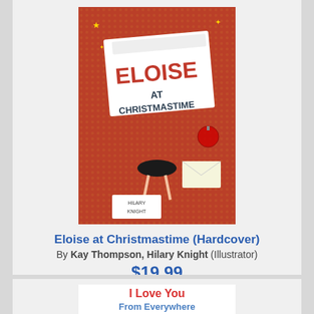[Figure (photo): Book cover of 'Eloise at Christmastime' with red background, showing the character Eloise and holiday decorations, by Kay Thompson illustrated by Hilary Knight]
Eloise at Christmastime (Hardcover)
By Kay Thompson, Hilary Knight (Illustrator)
$19.99
Add to Cart
Add to Wish List
Special Order - arrival estimates will be provided when your order is processed
[Figure (illustration): Book cover of 'I Love You From Everywhere' showing two children on a globe with hearts]